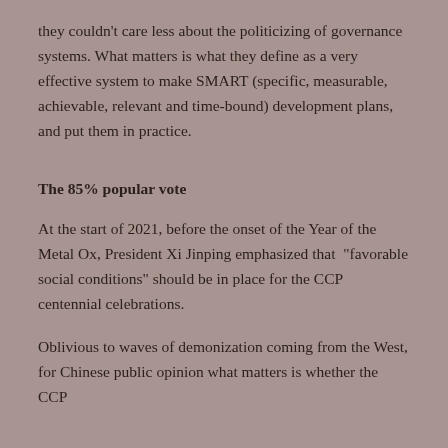they couldn't care less about the politicizing of governance systems. What matters is what they define as a very effective system to make SMART (specific, measurable, achievable, relevant and time-bound) development plans, and put them in practice.
The 85% popular vote
At the start of 2021, before the onset of the Year of the Metal Ox, President Xi Jinping emphasized that “favorable social conditions” should be in place for the CCP centennial celebrations.
Oblivious to waves of demonization coming from the West, for Chinese public opinion what matters is whether the CCP